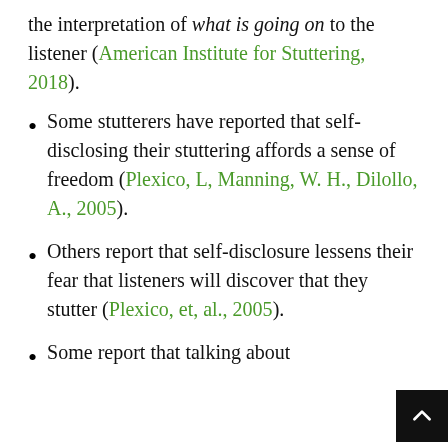the interpretation of what is going on to the listener (American Institute for Stuttering, 2018).
Some stutterers have reported that self-disclosing their stuttering affords a sense of freedom (Plexico, L, Manning, W. H., Dilollo, A., 2005).
Others report that self-disclosure lessens their fear that listeners will discover that they stutter (Plexico, et, al., 2005).
Some report that talking about